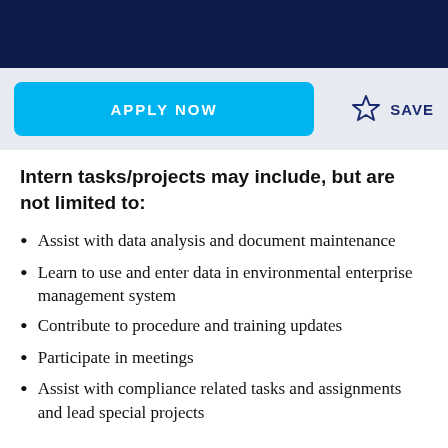Intern tasks/projects may include, but are not limited to:
Assist with data analysis and document maintenance
Learn to use and enter data in environmental enterprise management system
Contribute to procedure and training updates
Participate in meetings
Assist with compliance related tasks and assignments and lead special projects